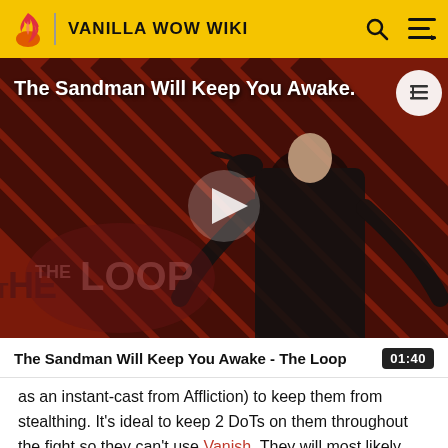VANILLA WOW WIKI
[Figure (screenshot): Video thumbnail for 'The Sandman Will Keep You Awake - The Loop' showing a pale figure in black on a diagonal striped red background with THE LOOP watermark and a play button in the center]
The Sandman Will Keep You Awake - The Loop  01:40
as an instant-cast from Affliction) to keep them from stealthing. It's ideal to keep 2 DoTs on them throughout the fight so they can't use Vanish. They will most likely use Sprint to close the distance